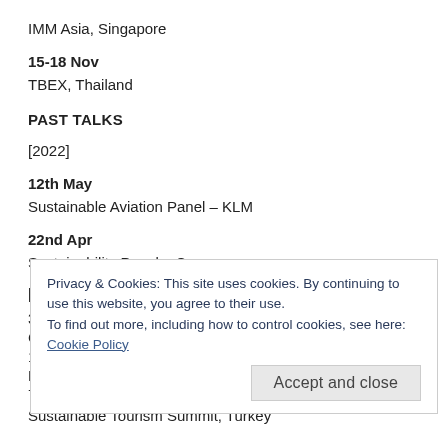IMM Asia, Singapore
15-18 Nov
TBEX, Thailand
PAST TALKS
[2022]
12th May
Sustainable Aviation Panel – KLM
22nd Apr
Sustainability Panel – Coursera
[2021]
3
C
1
D
7
Sustainable Tourism Summit, Turkey
Privacy & Cookies: This site uses cookies. By continuing to use this website, you agree to their use. To find out more, including how to control cookies, see here: Cookie Policy